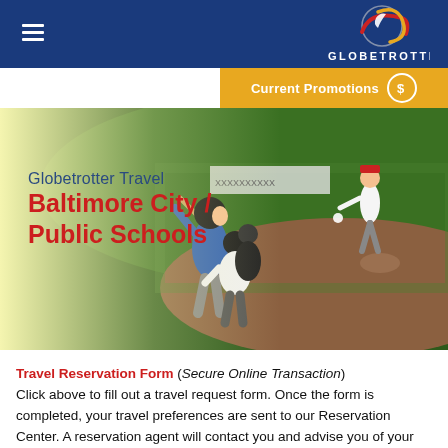Globetrotter (logo)
[Figure (infographic): Globetrotter logo — circular globe with red and gold swooshes, white crescent, text GLOBETROTTER below]
[Figure (infographic): Current Promotions button — gold/yellow bar with dollar sign circle icon and white text]
[Figure (photo): Baseball game photo: batter swinging, catcher crouching, pitcher throwing in background, green field, evening light. Left side fades to yellow. Overlaid text: 'Globetrotter Travel' in navy and 'Baltimore City / Public Schools' in red.]
Travel Reservation Form (Secure Online Transaction) Click above to fill out a travel request form. Once the form is completed, your travel preferences are sent to our Reservation Center. A reservation agent will contact you and advise you of your travel options or answer any questions you may have about booking your flight or car